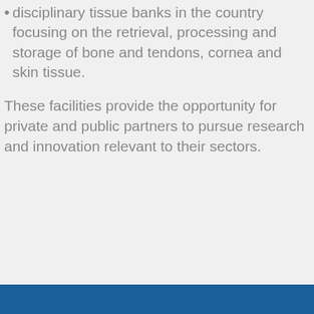disciplinary tissue banks in the country focusing on the retrieval, processing and storage of bone and tendons, cornea and skin tissue.
These facilities provide the opportunity for private and public partners to pursue research and innovation relevant to their sectors.